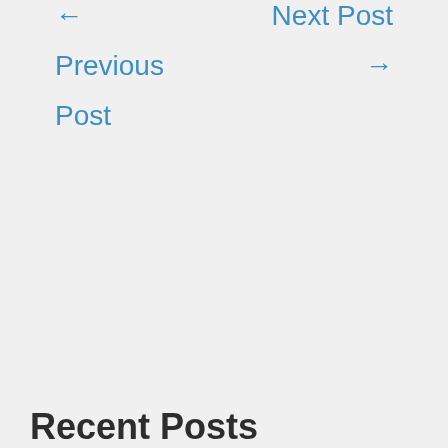← Previous Post
Next Post →
Recent Posts